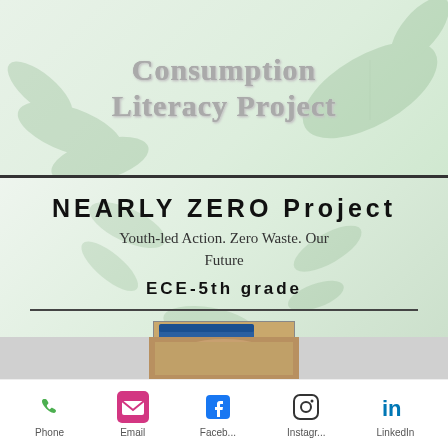Consumption Literacy Project
NEARLY ZERO Project
Youth-led Action. Zero Waste. Our Future
ECE-5th grade
[Figure (photo): Child holding compost/soil in open palm, with a blue bin of compost materials visible in background — classroom composting activity]
[Figure (photo): Partial view of another photo at bottom, cropped]
Phone   Email   Faceb...   Instagr...   LinkedIn